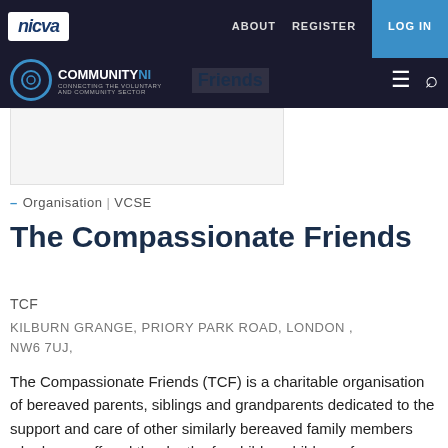nicva | ABOUT  REGISTER  LOG IN
COMMUNITY NI | Friends
[Figure (screenshot): Website screenshot banner image placeholder area]
– Organisation | VCSE
The Compassionate Friends
TCF
KILBURN GRANGE, PRIORY PARK ROAD, LONDON , NW6 7UJ,
The Compassionate Friends (TCF) is a charitable organisation of bereaved parents, siblings and grandparents dedicated to the support and care of other similarly bereaved family members who have suffered the death of a child or children of